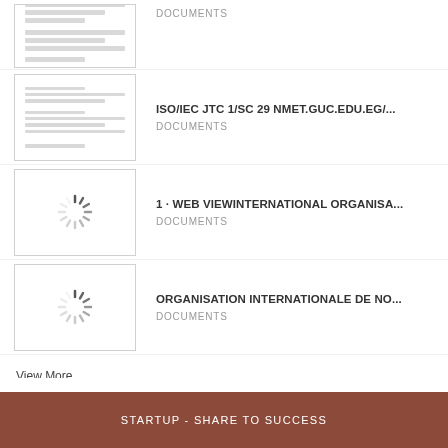[Figure (screenshot): Document thumbnail showing text lines]
DOCUMENTS
[Figure (screenshot): Document thumbnail showing text lines]
ISO/IEC JTC 1/SC 29 NMET.GUC.EDU.EG/...
DOCUMENTS
[Figure (screenshot): Loading spinner icon]
1 · WEB VIEWINTERNATIONAL ORGANISA...
DOCUMENTS
[Figure (screenshot): Loading spinner icon]
ORGANISATION INTERNATIONALE DE NO...
DOCUMENTS
View More
STARTUP - SHARE TO SUCCESS